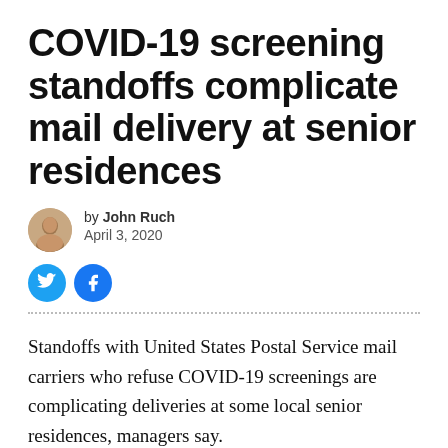COVID-19 screening standoffs complicate mail delivery at senior residences
by John Ruch
April 3, 2020
Standoffs with United States Postal Service mail carriers who refuse COVID-19 screenings are complicating deliveries at some local senior residences, managers say.